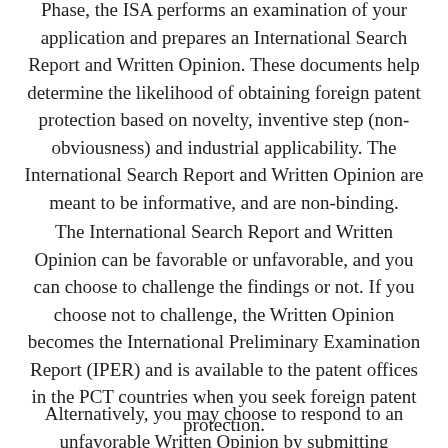Phase, the ISA performs an examination of your application and prepares an International Search Report and Written Opinion. These documents help determine the likelihood of obtaining foreign patent protection based on novelty, inventive step (non-obviousness) and industrial applicability. The International Search Report and Written Opinion are meant to be informative, and are non-binding.
The International Search Report and Written Opinion can be favorable or unfavorable, and you can choose to challenge the findings or not. If you choose not to challenge, the Written Opinion becomes the International Preliminary Examination Report (IPER) and is available to the patent offices in the PCT countries when you seek foreign patent protection.
Alternatively, you may choose to respond to an unfavorable Written Opinion by submitting